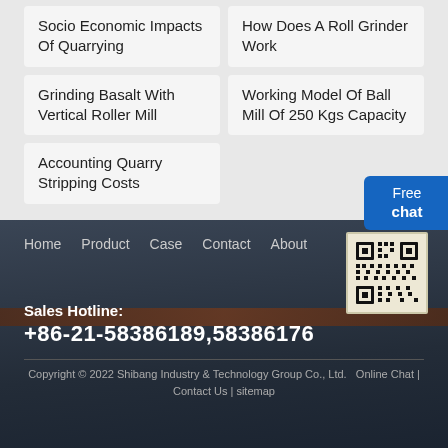Socio Economic Impacts Of Quarrying
How Does A Roll Grinder Work
Grinding Basalt With Vertical Roller Mill
Working Model Of Ball Mill Of 250 Kgs Capacity
Accounting Quarry Stripping Costs
Free chat
Home   Product   Case   Contact   About
Sales Hotline: +86-21-58386189,58386176
Copyright © 2022 Shibang Industry & Technology Group Co., Ltd.   Online Chat | Contact Us | sitemap